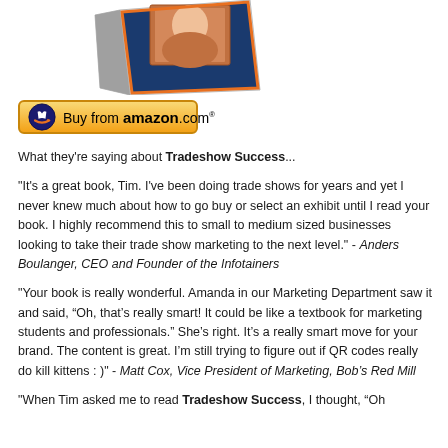[Figure (photo): Book cover image of Tradeshow Success, shown at an angle from above]
[Figure (logo): Buy from amazon.com button with Amazon logo icon in yellow/gold gradient rounded rectangle]
What they're saying about Tradeshow Success...
"It's a great book, Tim. I've been doing trade shows for years and yet I never knew much about how to go buy or select an exhibit until I read your book. I highly recommend this to small to medium sized businesses looking to take their trade show marketing to the next level." - Anders Boulanger, CEO and Founder of the Infotainers
"Your book is really wonderful. Amanda in our Marketing Department saw it and said, “Oh, that’s really smart! It could be like a textbook for marketing students and professionals.” She’s right. It’s a really smart move for your brand. The content is great. I’m still trying to figure out if QR codes really do kill kittens : )" - Matt Cox, Vice President of Marketing, Bob’s Red Mill
"When Tim asked me to read Tradeshow Success, I thought, “Oh